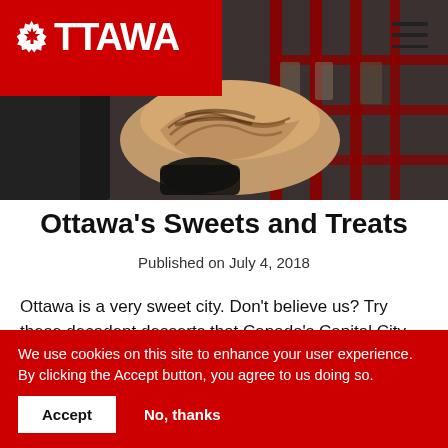[Figure (logo): Ottawa city logo: red background with white gear/maple leaf icon and white text OTTAWA]
[Figure (photo): Hero image showing a person holding a pastry/dessert with a blurred red shop background]
Ottawa's Sweets and Treats
Published on July 4, 2018
Ottawa is a very sweet city. Don't believe us? Try these decadent desserts that Canada's Capital City has to offer,
We use cookies on this site to enhance your user experience. By clicking the Accept button, you agree to us doing so.